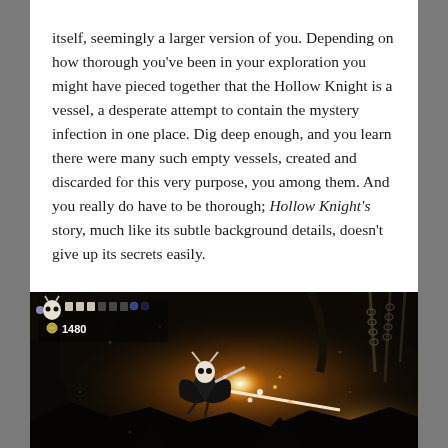itself, seemingly a larger version of you. Depending on how thorough you've been in your exploration you might have pieced together that the Hollow Knight is a vessel, a desperate attempt to contain the mystery infection in one place. Dig deep enough, and you learn there were many such empty vessels, created and discarded for this very purpose, you among them. And you really do have to be thorough; Hollow Knight's story, much like its subtle background details, doesn't give up its secrets easily.
[Figure (screenshot): Screenshot from Hollow Knight video game showing a dark cave environment with glowing orange/amber light in the background. The player character (a small black bug with a white mask) is in combat, wielding a nail (sword), with sparkles of light and chains visible. A HUD in the top-left shows health indicators and a geo count of 1480.]